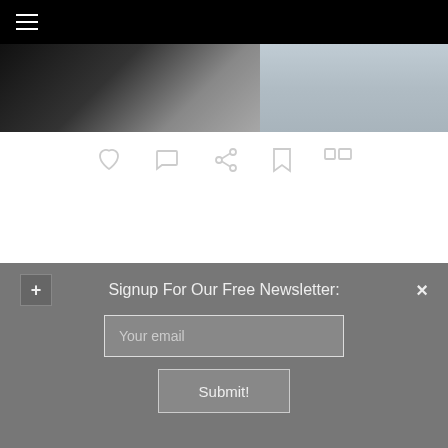Navigation bar with hamburger menu
[Figure (photo): Partial view of a person with dark hair against a dark background, with what appears to be a keyboard or textured surface on the right side]
[Figure (infographic): Row of action icon buttons: heart/like, comment speech bubble, share, bookmark, and expand/fullscreen]
Signup For Our Free Newsletter:
Your email
Submit!